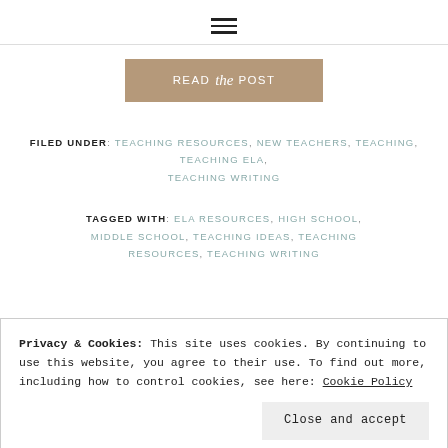☰
[Figure (other): READ the POST button in tan/brown color]
FILED UNDER: TEACHING RESOURCES, NEW TEACHERS, TEACHING, TEACHING ELA, TEACHING WRITING
TAGGED WITH: ELA RESOURCES, HIGH SCHOOL, MIDDLE SCHOOL, TEACHING IDEAS, TEACHING RESOURCES, TEACHING WRITING
Privacy & Cookies: This site uses cookies. By continuing to use this website, you agree to their use. To find out more, including how to control cookies, see here: Cookie Policy
Close and accept
OWN THAT SPEECH